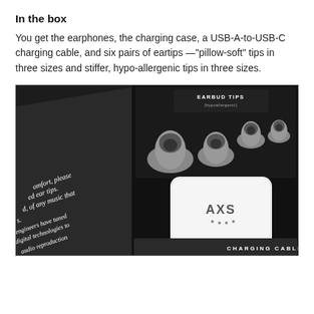In the box
You get the earphones, the charging case, a USB-A-to-USB-C charging cable, and six pairs of eartips —"pillow-soft" tips in three sizes and stiffer, hypo-allergenic tips in three sizes.
[Figure (photo): Open black product box showing earbud tips (hypoallergenic) arranged in a tray, a white AXS charging case, and a compartment labeled CHARGING CABLE. The box lid is partially visible showing cursive text about comfort and music.]